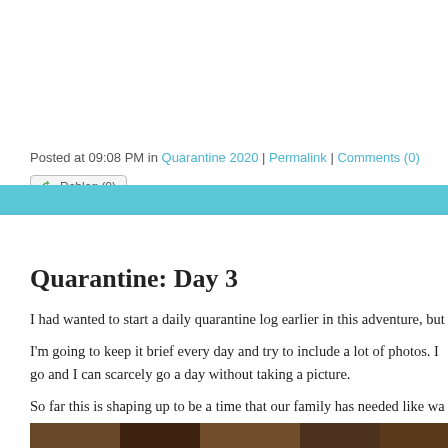Posted at 09:08 PM in Quarantine 2020 | Permalink | Comments (0)
Reblog (0)
SATURDAY, 28 MARCH 2020
Quarantine: Day 3
I had wanted to start a daily quarantine log earlier in this adventure, but
I'm going to keep it brief every day and try to include a lot of photos. I go and I can scarcely go a day without taking a picture.
So far this is shaping up to be a time that our family has needed like wa crucial for where we are at as a family.
For now, here are a few photos from today.
[Figure (photo): A partially visible photograph showing dark earthy tones, wood texture and fabric, bottom of blog post]